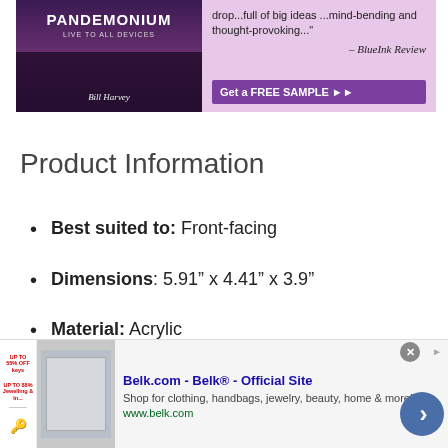[Figure (illustration): Advertisement banner for 'Pandemonium: Live to All Devices' by Bill Harvey. Purple/lavender background. Left side shows book cover with dark crowd scene and title text. Right side shows quote text and a 'Get a FREE SAMPLE' button.]
Product Information
Best suited to: Front-facing
Dimensions: 5.91" x 4.41" x 3.9"
Material: Acrylic
Position: Front window
[Figure (advertisement): Bottom banner ad for Belk.com - Belk® - Official Site. Shows small product images on left, bold blue title, description text 'Shop for clothing, handbags, jewelry, beauty, home & more!' and green URL www.belk.com. Blue circular arrow navigation button on right.]